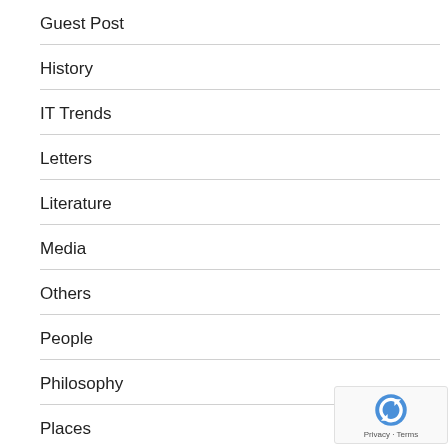Guest Post
History
IT Trends
Letters
Literature
Media
Others
People
Philosophy
Places